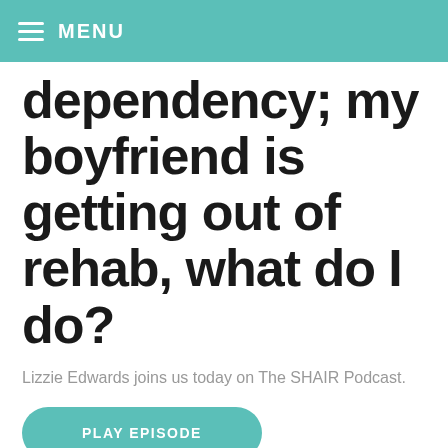MENU
dependency; my boyfriend is getting out of rehab, what do I do?
Lizzie Edwards joins us today on The SHAIR Podcast.
PLAY EPISODE
Shares